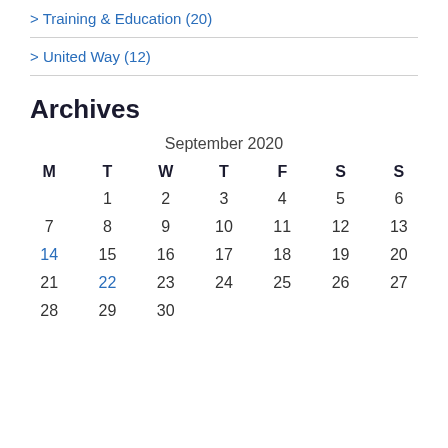> Training & Education (20)
> United Way (12)
Archives
| M | T | W | T | F | S | S |
| --- | --- | --- | --- | --- | --- | --- |
|  | 1 | 2 | 3 | 4 | 5 | 6 |
| 7 | 8 | 9 | 10 | 11 | 12 | 13 |
| 14 | 15 | 16 | 17 | 18 | 19 | 20 |
| 21 | 22 | 23 | 24 | 25 | 26 | 27 |
| 28 | 29 | 30 |  |  |  |  |